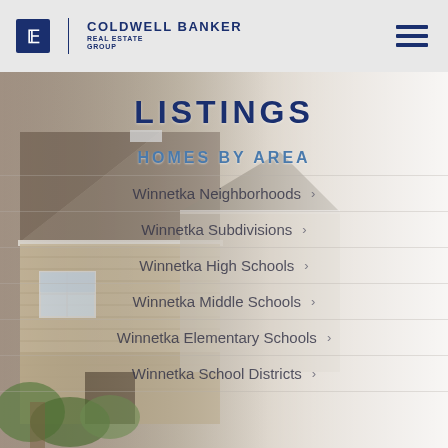[Figure (logo): Coldwell Banker Real Estate Group logo with CB icon]
LISTINGS
HOMES BY AREA
Winnetka Neighborhoods >
Winnetka Subdivisions >
Winnetka High Schools >
Winnetka Middle Schools >
Winnetka Elementary Schools >
Winnetka School Districts >